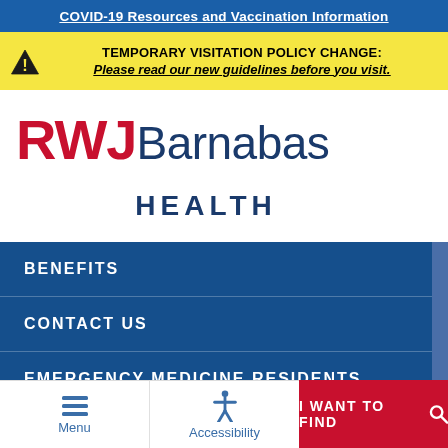COVID-19 Resources and Vaccination Information
TEMPORARY VISITATION POLICY CHANGE: Please read our new guidelines before you visit.
[Figure (logo): RWJBarnabas Health logo with red RWJ text and dark blue Barnabas Health text]
BENEFITS
CONTACT US
EMERGENCY MEDICINE RESIDENTS
Menu  Accessibility  I WANT TO FIND